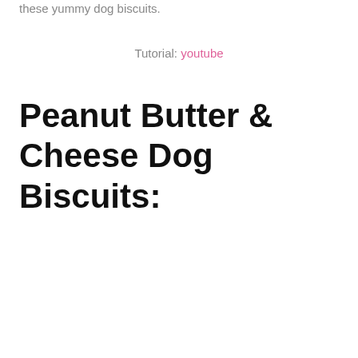these yummy dog biscuits.
Tutorial: youtube
Peanut Butter & Cheese Dog Biscuits: